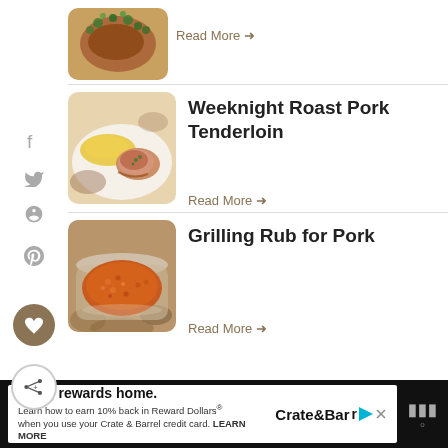[Figure (photo): Partial view of a garnished meat dish with green herbs, top of page]
Read More →
[Figure (photo): Sliced pork tenderloin on a plate with yellow side dish and herbs]
Weeknight Roast Pork Tenderloin
Read More →
[Figure (photo): Bowl of reddish-orange grilling rub spice mixture]
Grilling Rub for Pork
Read More →
[Figure (infographic): Advertisement banner: Bring rewards home. Crate & Barrel. Learn how to earn 10% back in Reward Dollars when you use your Crate & Barrel credit card. LEARN MORE]